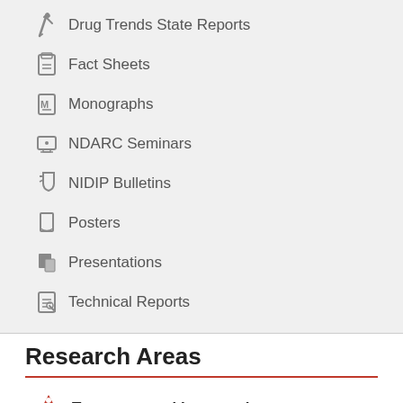Drug Trends State Reports
Fact Sheets
Monographs
NDARC Seminars
NIDIP Bulletins
Posters
Presentations
Technical Reports
Research Areas
Treatment and Intervention
Patterns of alcohol and drug use